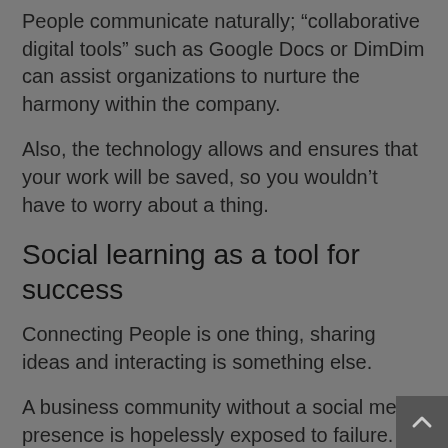People communicate naturally; “collaborative digital tools” such as Google Docs or DimDim can assist organizations to nurture the harmony within the company.
Also, the technology allows and ensures that your work will be saved, so you wouldn’t have to worry about a thing.
Social learning as a tool for success
Connecting People is one thing, sharing ideas and interacting is something else.
A business community without a social media presence is hopelessly exposed to failure.